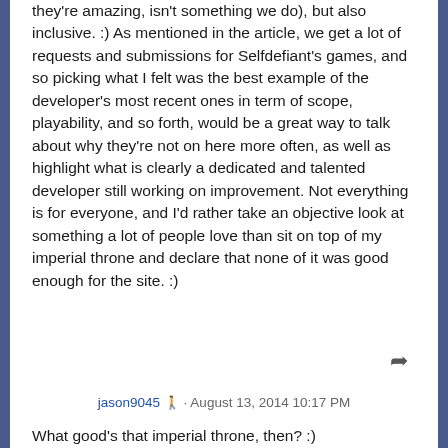they're amazing, isn't something we do), but also inclusive. :) As mentioned in the article, we get a lot of requests and submissions for Selfdefiant's games, and so picking what I felt was the best example of the developer's most recent ones in term of scope, playability, and so forth, would be a great way to talk about why they're not on here more often, as well as highlight what is clearly a dedicated and talented developer still working on improvement. Not everything is for everyone, and I'd rather take an objective look at something a lot of people love than sit on top of my imperial throne and declare that none of it was good enough for the site. :)
jason9045 · August 13, 2014 10:17 PM
What good's that imperial throne, then? :)